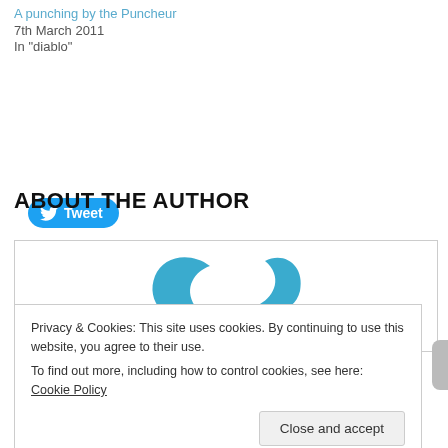A punching by the Puncheur
7th March 2011
In "diablo"
[Figure (other): Blue Twitter bird icon Tweet button]
ABOUT THE AUTHOR
[Figure (logo): Partial blue logo/icon resembling two curved arrow shapes]
Privacy & Cookies: This site uses cookies. By continuing to use this website, you agree to their use.
To find out more, including how to control cookies, see here: Cookie Policy
Close and accept
Girodilento